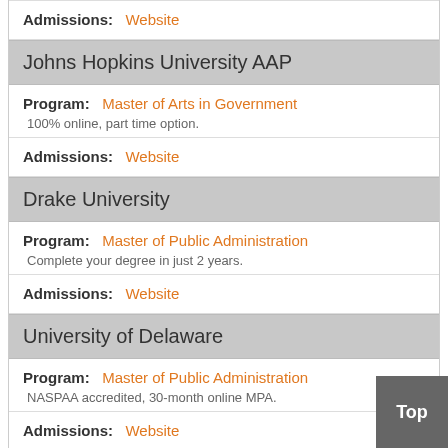| Admissions: | Website |
| Johns Hopkins University AAP |  |
| Program: | Master of Arts in Government | 100% online, part time option. |
| Admissions: | Website |
| Drake University |  |
| Program: | Master of Public Administration | Complete your degree in just 2 years. |
| Admissions: | Website |
| University of Delaware |  |
| Program: | Master of Public Administration | NASPAA accredited, 30-month online MPA. |
| Admissions: | Website |
| Lindenwood University |  |
| Program: | Master of Public Administration |